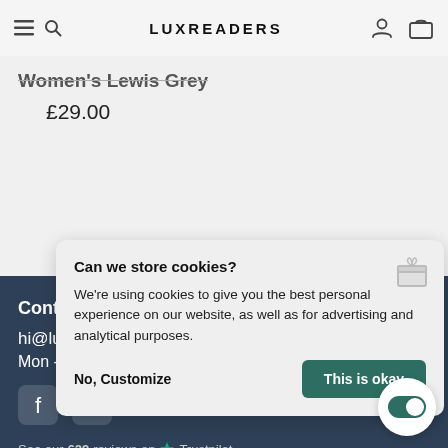LUXREADERS
Women's Lewis Grey
£29.00
Contact
hi@luxreaders.com
Mon - Fri: 9:00-15:00
See our 629 reviews on Trustpilot
Can we store cookies?
We're using cookies to give you the best personal experience on our website, as well as for advertising and analytical purposes.
No, Customize
This is okay